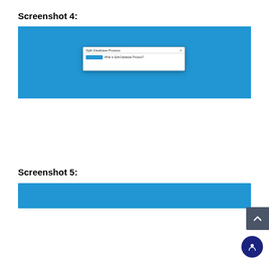Screenshot 4:
[Figure (screenshot): Screenshot of a software interface with a blue background and a dialog box titled 'Split Database Process' with a button and label 'What is Split Database Process?']
Screenshot 5:
[Figure (screenshot): Partial screenshot showing a blue header bar, a scroll-to-top button (dark gray with up arrow), and a chat/support button (dark navy circle with person icon)]